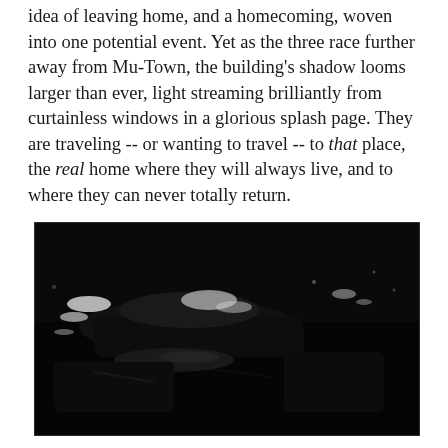idea of leaving home, and a homecoming, woven into one potential event. Yet as the three race further away from Mu-Town, the building's shadow looms larger than ever, light streaming brilliantly from curtainless windows in a glorious splash page. They are traveling -- or wanting to travel -- to that place, the real home where they will always live, and to where they can never totally return.
[Figure (photo): A dark, high-contrast black and white photograph showing vehicles, possibly cars, at night with light reflections and streaks visible against a very dark background.]